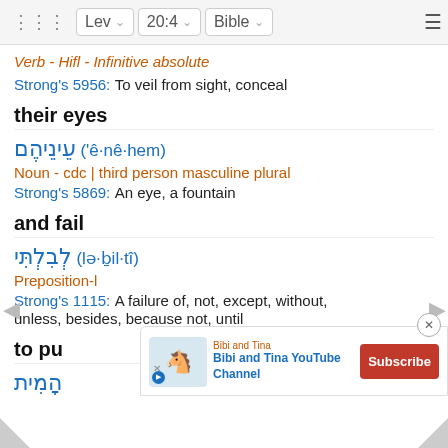Lev 20:4 Bible
Verb - Hifl - Infinitive absolute
Strong's 5956: To veil from sight, conceal
their eyes
עֵינֵיהֶם ('ê·nê·hem)
Noun - cdc | third person masculine plural
Strong's 5869: An eye, a fountain
and fail
לְבִלְתִּי (lə·ḇil·tî)
Preposition-l
Strong's 1115: A failure of, not, except, without, unless, besides, because not, until
to pu
הָמִית